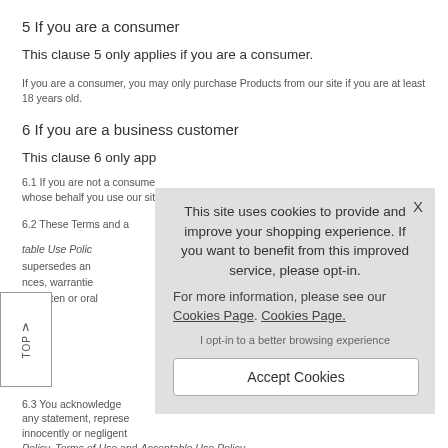5 If you are a consumer
This clause 5 only applies if you are a consumer.
If you are a consumer, you may only purchase Products from our site if you are at least 18 years old.
6 If you are a business customer
This clause 6 only app…
6.1 If you are not a consume… whose behalf you use our sit…
6.2 These Terms and a… table Use Polic… supersedes an… nces, warrantie… er written or oral…
6.3 You acknowledge… any statement, represe… innocently or negligent… Policy, Terms of Use and Acceptable Use Policy.
[Figure (screenshot): Cookie consent modal overlay with text: 'This site uses cookies to provide and improve your shopping experience. If you want to benefit from this improved service, please opt-in. For more information, please see our Cookies Page. Cookies Page.' with an 'Accept Cookies' button and 'I opt-in to a better browsing experience' text.]